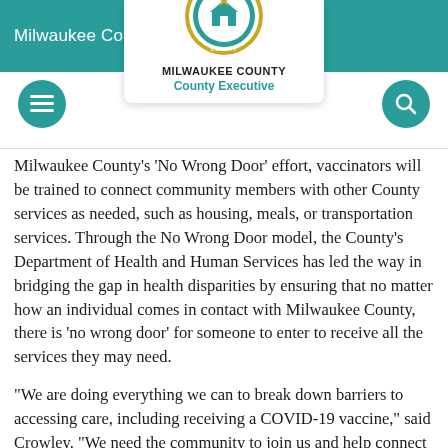Milwaukee County
[Figure (logo): Milwaukee County seal with circular emblem and text MILWAUKEE COUNTY County Executive below]
Milwaukee County's 'No Wrong Door' effort, vaccinators will be trained to connect community members with other County services as needed, such as housing, meals, or transportation services. Through the No Wrong Door model, the County's Department of Health and Human Services has led the way in bridging the gap in health disparities by ensuring that no matter how an individual comes in contact with Milwaukee County, there is 'no wrong door' for someone to enter to receive all the services they may need.
“We are doing everything we can to break down barriers to accessing care, including receiving a COVID-19 vaccine,” said Crowley. “We need the community to join us and help connect those in need with available services, including this at-home vaccine option.”